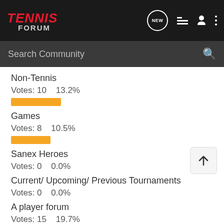Tennis Forum – navigation header with logo, NEW, list, person, dots icons
Search Community
Non-Tennis
Votes: 10    13.2%
Games
Votes: 8    10.5%
Sanex Heroes
Votes: 0    0.0%
Current/ Upcoming/ Previous Tournaments
Votes: 0    0.0%
A player forum
Votes: 15    19.7%
Other tournaments